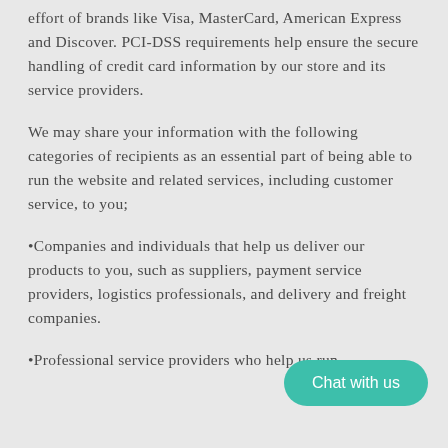effort of brands like Visa, MasterCard, American Express and Discover. PCI-DSS requirements help ensure the secure handling of credit card information by our store and its service providers.
We may share your information with the following categories of recipients as an essential part of being able to run the website and related services, including customer service, to you;
•Companies and individuals that help us deliver our products to you, such as suppliers, payment service providers, logistics professionals, and delivery and freight companies.
•Professional service providers who help us run our business, such as marketing agencies, advertising partners and website hosts;